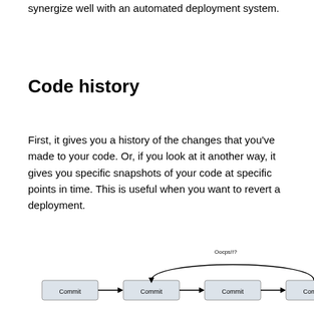synergize well with an automated deployment system.
Code history
First, it gives you a history of the changes that you've made to your code. Or, if you look at it another way, it gives you specific snapshots of your code at specific points in time. This is useful when you want to revert a deployment.
[Figure (flowchart): Four boxes labeled 'Commit' connected left to right with arrows. A curved arrow labeled 'Oocps!!?' loops from the last Commit box back to the second Commit box, indicating a revert action.]